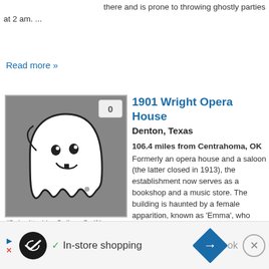there and is prone to throwing ghostly parties at 2 am. ...
Read more »
[Figure (illustration): Ghost cartoon illustration on grey background with badge showing '0']
1901 Wright Opera House
Denton, Texas
106.4 miles from Centrahoma, OK
Formerly an opera house and a saloon (the latter closed in 1913), the establishment now serves as a bookshop and a music store. The building is haunted by a female apparition, known as 'Emma', who roams the third floor where her former apartment was located.
(Submitted by Callum Swift)
Read more »
[Figure (illustration): Ghost cartoon illustration partial view on grey background with badge showing '0']
J & J's Pizza
Denton, Texas
In-store shopping
▶ ✓ In-store shopping  OK  ×